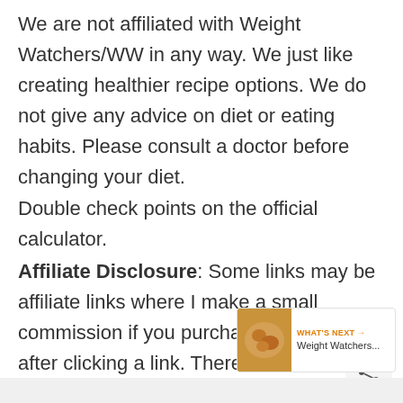We are not affiliated with Weight Watchers/WW in any way. We just like creating healthier recipe options. We do not give any advice on diet or eating habits. Please consult a doctor before changing your diet.
Double check points on the official calculator.
Affiliate Disclosure: Some links may be affiliate links where I make a small commission if you purchase anything after clicking a link. There is no additional cost to you. As an Amazon Associate earn from qualifying purchases.